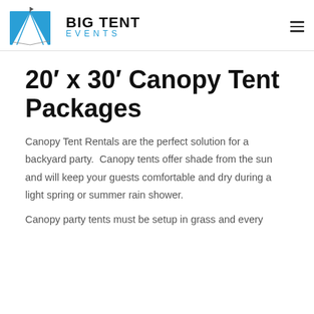[Figure (logo): Big Tent Events logo with blue and white tent graphic on left, bold black BIG TENT text and blue EVENTS text on right]
20′ x 30′ Canopy Tent Packages
Canopy Tent Rentals are the perfect solution for a backyard party.  Canopy tents offer shade from the sun and will keep your guests comfortable and dry during a light spring or summer rain shower.
Canopy party tents must be setup in grass and every